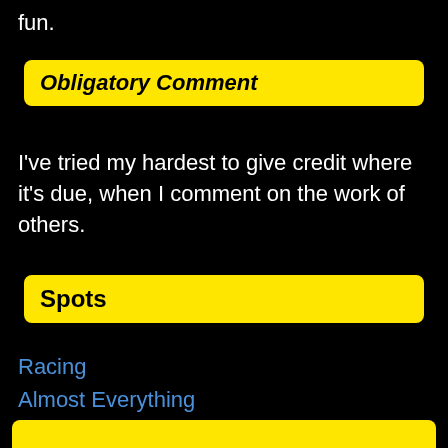fun.
Obligatory Comment
I've tried my hardest to give credit where it's due, when I comment on the work of others.
Spots
Racing
Almost Everything
BSweet
Motorsports
Just In Case